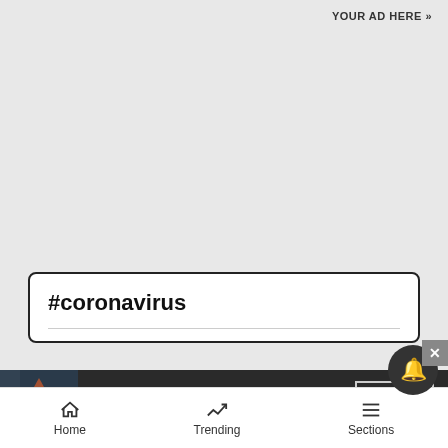YOUR AD HERE »
#coronavirus
[Figure (screenshot): Seamless food delivery advertisement banner showing pizza image, red Seamless logo button, and ORDER NOW button on dark background]
Home   Trending   Sections